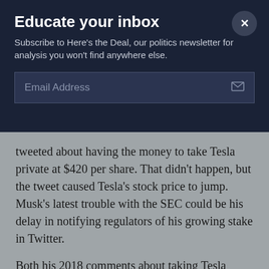Educate your inbox
Subscribe to Here's the Deal, our politics newsletter for analysis you won't find anywhere else.
Email Address
tweeted about having the money to take Tesla private at $420 per share. That didn't happen, but the tweet caused Tesla's stock price to jump. Musk's latest trouble with the SEC could be his delay in notifying regulators of his growing stake in Twitter.
Both his 2018 comments about taking Tesla private at $420 per share and his latest bid to take Twitter private at $54.20 per share seemed